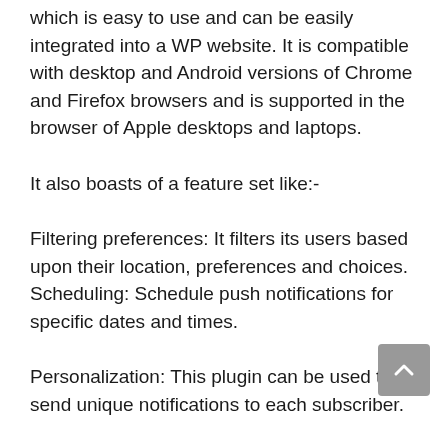which is easy to use and can be easily integrated into a WP website. It is compatible with desktop and Android versions of Chrome and Firefox browsers and is supported in the browser of Apple desktops and laptops.
It also boasts of a feature set like:-
Filtering preferences: It filters its users based upon their location, preferences and choices. Scheduling: Schedule push notifications for specific dates and times.
Personalization: This plugin can be used to send unique notifications to each subscriber.
PushAssist has the ability for  3,000